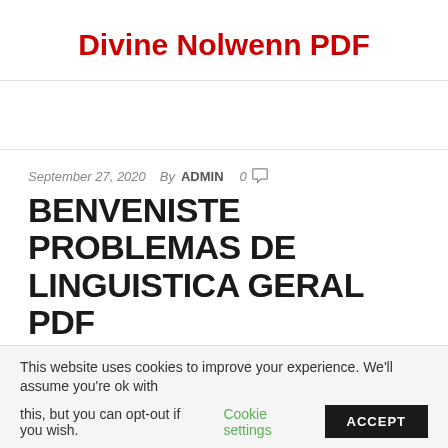Divine Nolwenn PDF
September 27, 2020  By ADMIN  0
BENVENISTE PROBLEMAS DE LINGUISTICA GERAL PDF
This website uses cookies to improve your experience. We'll assume you're ok with this, but you can opt-out if you wish. Cookie settings ACCEPT